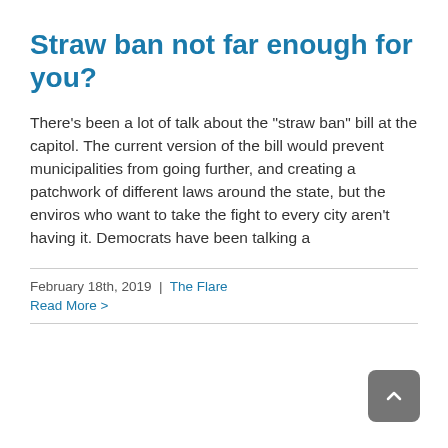Straw ban not far enough for you?
There's been a lot of talk about the "straw ban" bill at the capitol. The current version of the bill would prevent municipalities from going further, and creating a patchwork of different laws around the state, but the enviros who want to take the fight to every city aren't having it. Democrats have been talking a
February 18th, 2019  |  The Flare
Read More >